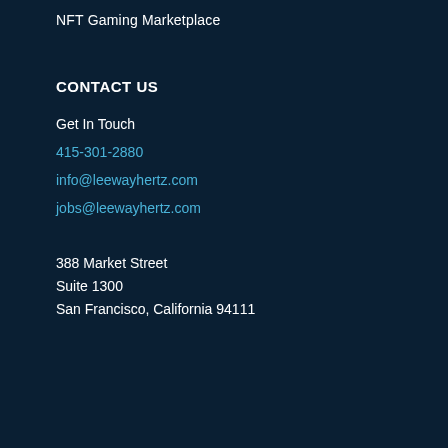NFT Gaming Marketplace
CONTACT US
Get In Touch
415-301-2880
info@leewayhertz.com
jobs@leewayhertz.com
388 Market Street
Suite 1300
San Francisco, California 94111